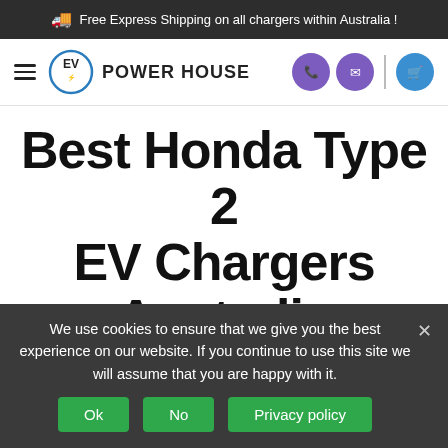Free Express Shipping on all chargers within Australia !
[Figure (logo): EV Power House logo with hamburger menu, circular EV logo with blue border, POWERHOUSE text, two purple icon circles (phone and email), vertical divider, and blue shopping cart circle]
Best Honda Type 2 EV Chargers Australia
Home / EV Brands / Honda
We use cookies to ensure that we give you the best experience on our website. If you continue to use this site we will assume that you are happy with it.
Ok  No  Privacy policy